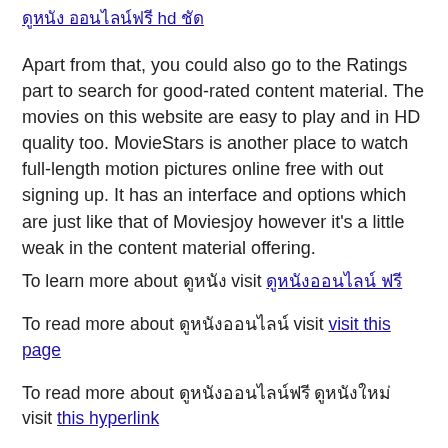ดูหนัง ออนไลน์ฟรี hd ชัด
Apart from that, you could also go to the Ratings part to search for good-rated content material. The movies on this website are easy to play and in HD quality too. MovieStars is another place to watch full-length motion pictures online free with out signing up. It has an interface and options which are just like that of Moviesjoy however it's a little weak in the content material offering.
To learn more about ดูหนัง visit ดูหนังออนไลน์ ฟรี
To read more about ดูหนังออนไลน์ visit visit this page
To read more about ดูหนังออนไลน์ฟรี ดูหนังใหม่ visit this hyperlink
To read more about ดูหนังออนไลน์ฟรีไม่มีโฆษณา 2019 visit ดูหนัง